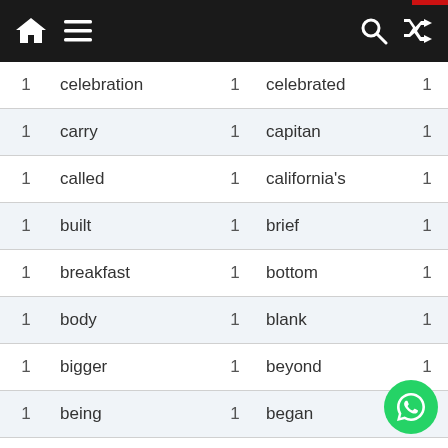Navigation bar with home, menu, search, shuffle icons
| count | word | count | word | count |
| --- | --- | --- | --- | --- |
| 1 | celebration | 1 | celebrated | 1 |
| 1 | carry | 1 | capitan | 1 |
| 1 | called | 1 | california's | 1 |
| 1 | built | 1 | brief | 1 |
| 1 | breakfast | 1 | bottom | 1 |
| 1 | body | 1 | blank | 1 |
| 1 | bigger | 1 | beyond | 1 |
| 1 | being | 1 | began | 1 |
| 1 | beautiful | 1 | batted | 1 |